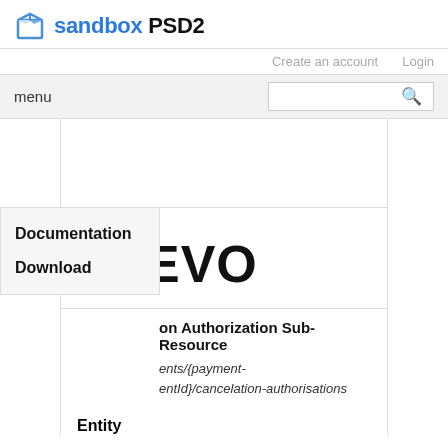sandbox PSD2
Create an account    Login
menu
[Figure (logo): EVO bank logo — stylized document/page icon followed by bold text EVO]
Documentation
Download
on Authorization Sub-Resource
ents/{payment-entId}/cancelation-authorisations
Entity